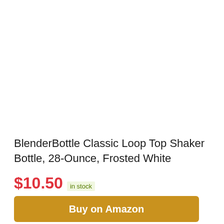BlenderBottle Classic Loop Top Shaker Bottle, 28-Ounce, Frosted White
$10.50 in stock
Buy on Amazon
Amazon.com